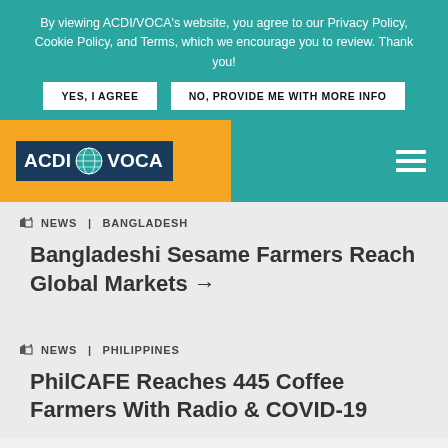By viewing ACDI/VOCA's website, you agree to our Privacy Policy, Cookie Policy, and Terms, which we encourage you to review. Thank you!
YES, I AGREE
NO, PROVIDE ME WITH MORE INFO
[Figure (logo): ACDI/VOCA logo with globe icon on dark blue background, inside an orange header bar]
NEWS | BANGLADESH
Bangladeshi Sesame Farmers Reach Global Markets →
NEWS | PHILIPPINES
PhilCAFE Reaches 445 Coffee Farmers With Radio & COVID-19